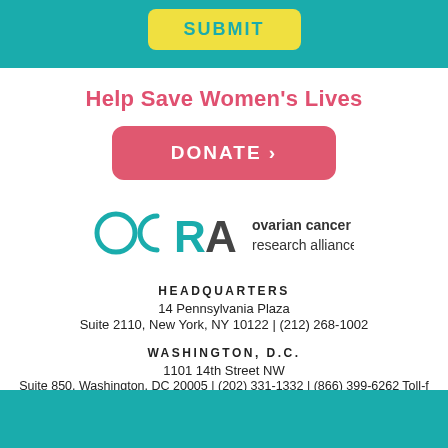SUBMIT
Help Save Women's Lives
[Figure (logo): DONATE > button (pink/red rounded rectangle)]
[Figure (logo): OCRA ovarian cancer research alliance logo]
HEADQUARTERS
14 Pennsylvania Plaza
Suite 2110, New York, NY 10122  |  (212) 268-1002
WASHINGTON, D.C.
1101 14th Street NW
Suite 850, Washington, DC 20005  |  (202) 331-1332  |  (866) 399-6262 Toll-f